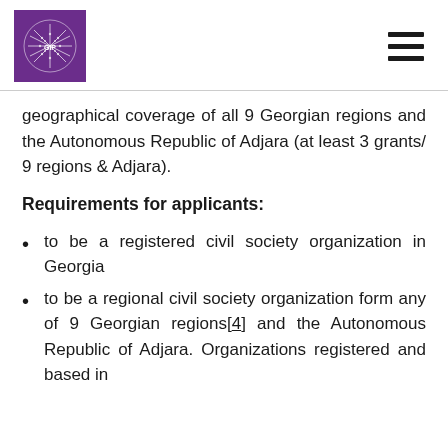GIP logo and hamburger menu
geographical coverage of all 9 Georgian regions and the Autonomous Republic of Adjara (at least 3 grants/ 9 regions & Adjara).
Requirements for applicants:
to be a registered civil society organization in Georgia
to be a regional civil society organization form any of 9 Georgian regions[4] and the Autonomous Republic of Adjara. Organizations registered and based in